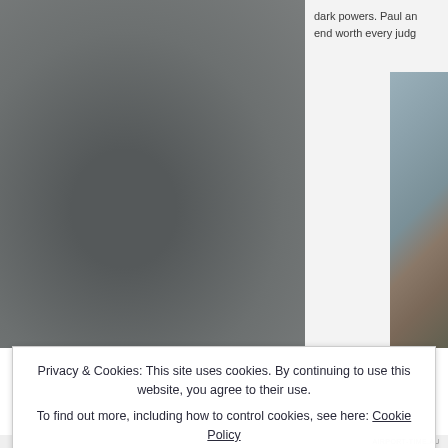[Figure (photo): Left portion: large grayscale photo of a person against a dark grey/charcoal background, partially cropped. Right portion: partial view of a person in brownish tones, cropped at right edge.]
dark powers. Paul an end worth every judg
Privacy & Cookies: This site uses cookies. By continuing to use this website, you agree to their use.
To find out more, including how to control cookies, see here: Cookie Policy
Close and accept
AIRPORT-TIME.AU